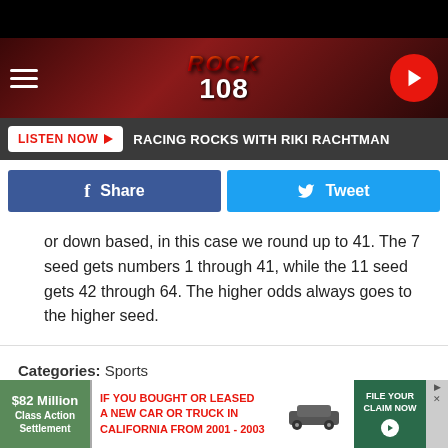[Figure (screenshot): Rock 108 radio station website header with logo, hamburger menu, and play button on dark red background]
LISTEN NOW ▶   RACING ROCKS WITH RIKI RACHTMAN
[Figure (other): Facebook Share and Twitter Tweet social sharing buttons]
or down based, in this case we round up to 41. The 7 seed gets numbers 1 through 41, while the 11 seed gets 42 through 64. The higher odds always goes to the higher seed.
Categories: Sports
Comments
[Figure (screenshot): Advertisement banner: $82 Million Class Action Settlement - IF YOU BOUGHT OR LEASED A NEW CAR OR TRUCK IN CALIFORNIA FROM 2001 - 2003 - FILE YOUR CLAIM NOW]